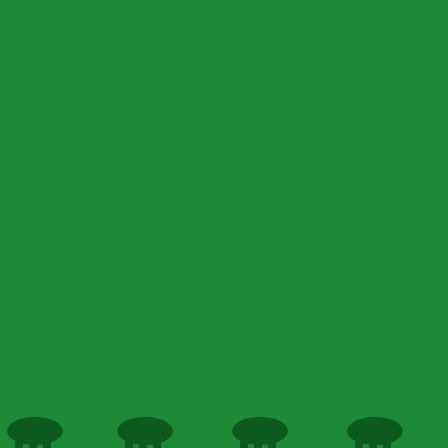[Figure (illustration): Green background with a repeating pattern of dark green silhouettes: deer/stag with antlers, oak leaves, rabbits/hares, and bird/duck footprints, arranged in a 4-column grid across 5 rows.]